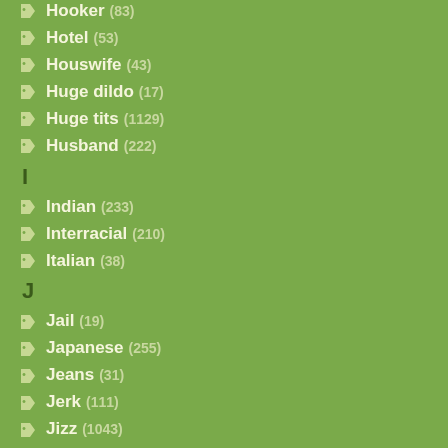Hooker (83)
Hotel (53)
Houswife (43)
Huge dildo (17)
Huge tits (1129)
Husband (222)
I
Indian (233)
Interracial (210)
Italian (38)
J
Jail (19)
Japanese (255)
Jeans (31)
Jerk (111)
Jizz (1043)
Juicy (270)